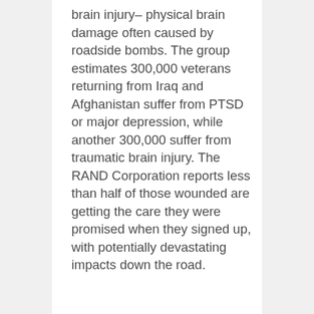brain injury– physical brain damage often caused by roadside bombs. The group estimates 300,000 veterans returning from Iraq and Afghanistan suffer from PTSD or major depression, while another 300,000 suffer from traumatic brain injury. The RAND Corporation reports less than half of those wounded are getting the care they were promised when they signed up, with potentially devastating impacts down the road.